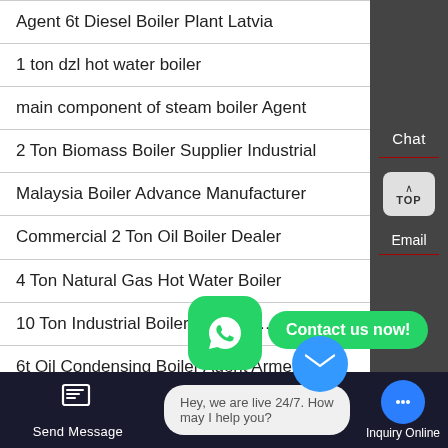Agent 6t Diesel Boiler Plant Latvia
1 ton dzl hot water boiler
main component of steam boiler Agent
2 Ton Biomass Boiler Supplier Industrial
Malaysia Boiler Advance Manufacturer
Commercial 2 Ton Oil Boiler Dealer
4 Ton Natural Gas Hot Water Boiler
10 Ton Industrial Boiler B… Lith…
6t Oil Condensing Boiler Agent Armenia
[Figure (screenshot): WhatsApp floating button with green background and phone icon, with 'Contact us now!' green badge]
[Figure (screenshot): Dark bottom navigation bar with Send Message, live chat bubble (Hey, we are live 24/7. How may I help you?), and Inquiry Online button]